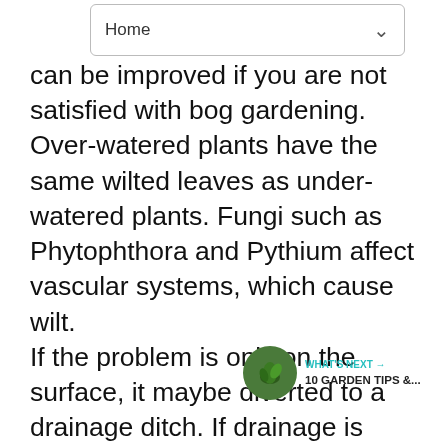Home
can be improved if you are not satisfied with bog gardening. Over-watered plants have the same wilted leaves as under-watered plants. Fungi such as Phytophthora and Pythium affect vascular systems, which cause wilt. If the problem is only on the surface, it maybe diverted to a drainage ditch. If drainage is poor where water table is high, install an underground drainage system. You should contact a contractor for this. If underground drains already exist, check to see if they are blocked.
French drains are another option. French drains are ditches that have been filled with gravel. It is okay to plant sod on top of them.